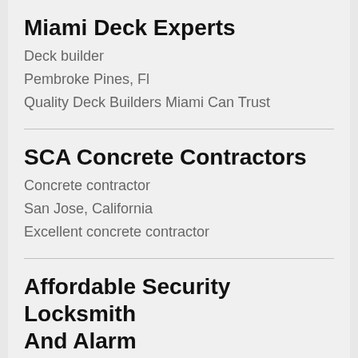Miami Deck Experts
Deck builder
Pembroke Pines, Fl
Quality Deck Builders Miami Can Trust
SCA Concrete Contractors
Concrete contractor
San Jose, California
Excellent concrete contractor
Affordable Security Locksmith And Alarm
Locksmith